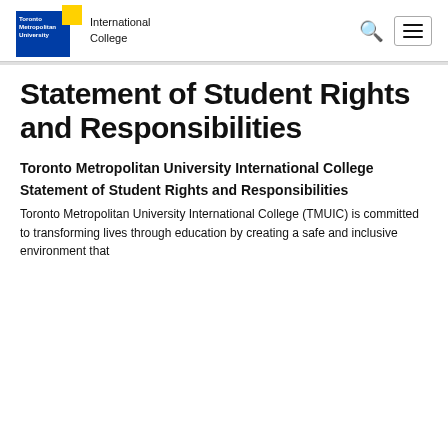Toronto Metropolitan University | International College
Statement of Student Rights and Responsibilities
Toronto Metropolitan University International College
Statement of Student Rights and Responsibilities
Toronto Metropolitan University International College (TMUIC) is committed to transforming lives through education by creating a safe and inclusive environment that